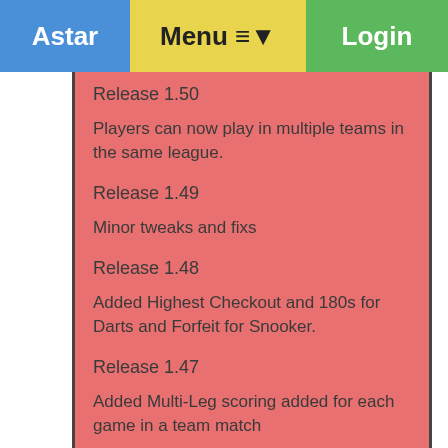Astar  Menu ≡▾  Login
Release 1.50
Players can now play in multiple teams in the same league.
Release 1.49
Minor tweaks and fixs
Release 1.48
Added Highest Checkout and 180s for Darts and Forfeit for Snooker.
Release 1.47
Added Multi-Leg scoring added for each game in a team match
Release 1.46